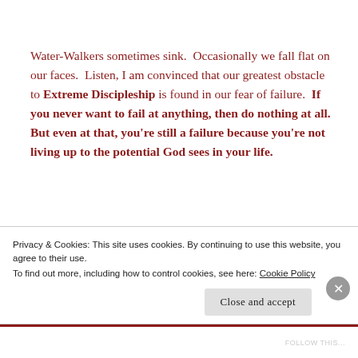Water-Walkers sometimes sink.  Occasionally we fall flat on our faces.  Listen, I am convinced that our greatest obstacle to Extreme Discipleship is found in our fear of failure.  If you never want to fail at anything, then do nothing at all.  But even at that, you're still a failure because you're not living up to the potential God sees in your life.
There is an element of risk and danger in Water-
Privacy & Cookies: This site uses cookies. By continuing to use this website, you agree to their use.
To find out more, including how to control cookies, see here: Cookie Policy